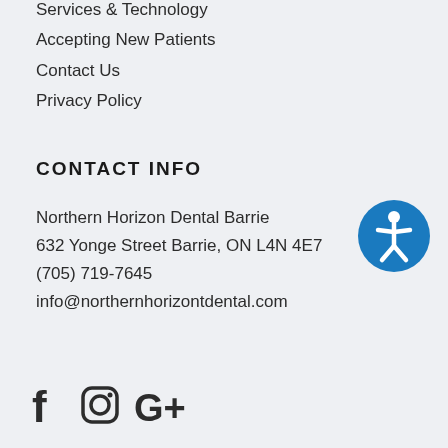Services & Technology
Accepting New Patients
Contact Us
Privacy Policy
CONTACT INFO
Northern Horizon Dental Barrie
632 Yonge Street Barrie, ON L4N 4E7
(705) 719-7645
info@northernhorizontdental.com
[Figure (logo): Accessibility icon — blue circle with white wheelchair/person symbol]
[Figure (logo): Social media icons: Facebook (f), Instagram (camera circle), Google+ (G+)]